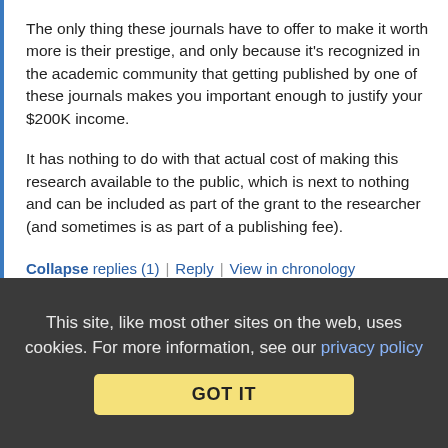The only thing these journals have to offer to make it worth more is their prestige, and only because it's recognized in the academic community that getting published by one of these journals makes you important enough to justify your $200K income.
It has nothing to do with that actual cost of making this research available to the public, which is next to nothing and can be included as part of the grant to the researcher (and sometimes is as part of a publishing fee).
Collapse replies (1) | Reply | View in chronology
[Figure (infographic): Row of five comment action icons: lightbulb (insightful), laughing emoji, quote/reply bubble open, quote/reply bubble close, flag]
This site, like most other sites on the web, uses cookies. For more information, see our privacy policy
GOT IT